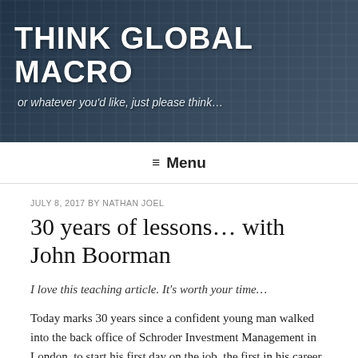THINK GLOBAL MACRO
or whatever you'd like, just please think…
≡ Menu
JULY 8, 2017 BY NATHAN JOEL
30 years of lessons… with John Boorman
I love this teaching article. It's worth your time…
Today marks 30 years since a confident young man walked into the back office of Schroder Investment Management in London, to start his first day on the job, the first in his career. Ask me a question back then and I would have answered assuredly and quickly. Today I'd be